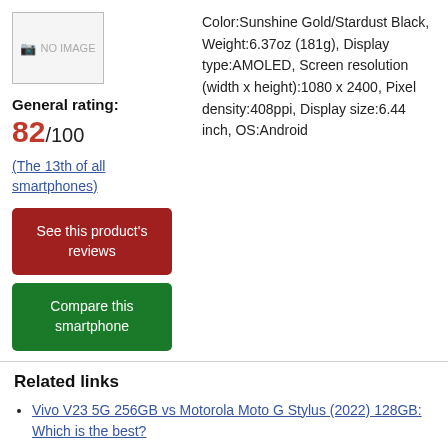[Figure (photo): No image placeholder box with image icon and 'NO IMAGE' text]
Color:Sunshine Gold/Stardust Black, Weight:6.37oz (181g), Display type:AMOLED, Screen resolution (width x height):1080 x 2400, Pixel density:408ppi, Display size:6.44 inch, OS:Android
General rating:
82/100
(The 13th of all smartphones)
See this product's reviews
Compare this smartphone
Related links
Vivo V23 5G 256GB vs Motorola Moto G Stylus (2022) 128GB: Which is the best?